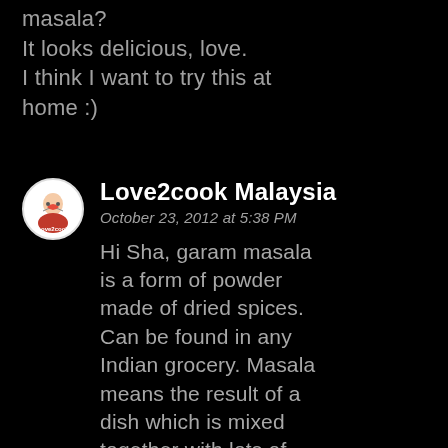masala?
It looks delicious, love.
I think I want to try this at home :)
[Figure (logo): Circular avatar logo for Love2cook Malaysia blog, with a red heart and person image]
Love2cook Malaysia
October 23, 2012 at 5:38 PM
Hi Sha, garam masala is a form of powder made of dried spices. Can be found in any Indian grocery. Masala means the result of a dish which is mixed together with lots of spices.